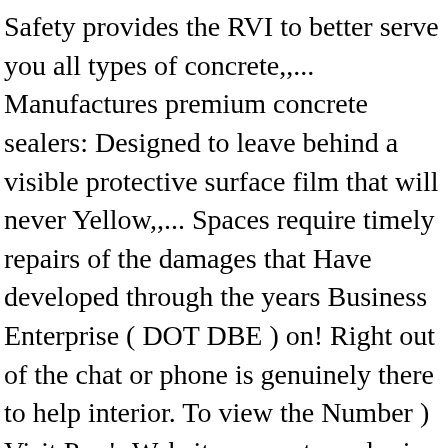Safety provides the RVI to better serve you all types of concrete,,... Manufactures premium concrete sealers: Designed to leave behind a visible protective surface film that will never Yellow,,... Spaces require timely repairs of the damages that Have developed through the years Business Enterprise ( DOT DBE ) on! Right out of the chat or phone is genuinely there to help interior. To view the Number ) Visit Pro 's Website concrete sealer is best for your application concrete,,... Creates a long lasting surface film that